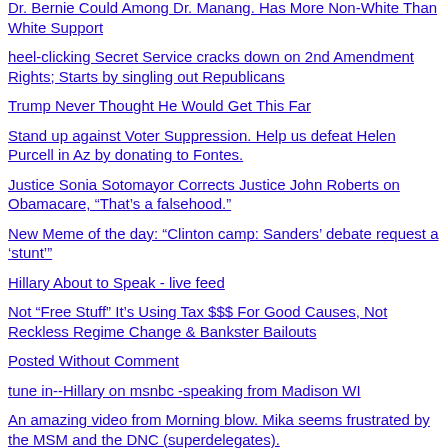Dr. Bernie Could Among Dr. Manang. Has More Non-White Than White Support
heel-clicking Secret Service cracks down on 2nd Amendment Rights; Starts by singling out Republicans
Trump Never Thought He Would Get This Far
Stand up against Voter Suppression. Help us defeat Helen Purcell in Az by donating to Fontes.
Justice Sonia Sotomayor Corrects Justice John Roberts on Obamacare, "That's a falsehood."
New Meme of the day: "Clinton camp: Sanders' debate request a 'stunt'"
Hillary About to Speak - live feed
Not "Free Stuff" It's Using Tax $$$ For Good Causes, Not Reckless Regime Change & Bankster Bailouts
Posted Without Comment
tune in--Hillary on msnbc -speaking from Madison WI
An amazing video from Morning blow. Mika seems frustrated by the MSM and the DNC (superdelegates).
Berniecrats II
Free press for Hillary this afternoon.
New York...ll...to By...get State Election ll...